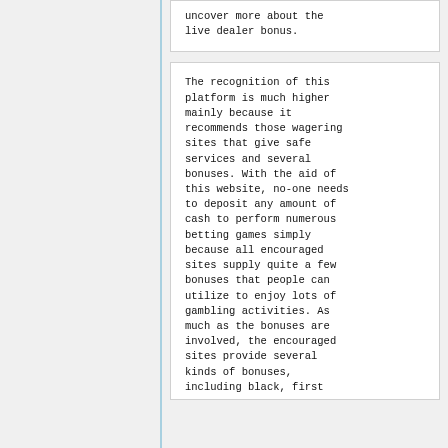uncover more about the live dealer bonus.
The recognition of this platform is much higher mainly because it recommends those wagering sites that give safe services and several bonuses. With the aid of this website, no-one needs to deposit any amount of cash to perform numerous betting games simply because all encouraged sites supply quite a few bonuses that people can utilize to enjoy lots of gambling activities. As much as the bonuses are involved, the encouraged sites provide several kinds of bonuses, including black, first